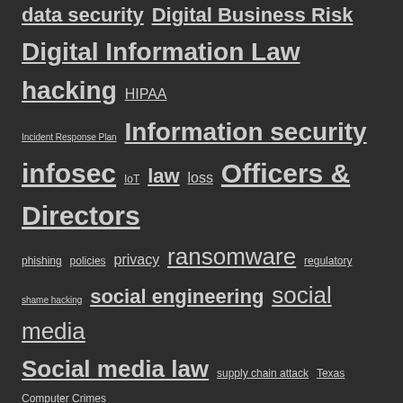data security  Digital Business Risk
Digital Information Law  hacking  HIPAA
Incident Response Plan  Information security
infosec  IoT  law  loss  Officers & Directors
phishing  policies  privacy  ransomware  regulatory
shame hacking  social engineering  social media
Social media law  supply chain attack  Texas Computer Crimes
third-party risk  trade secrets
META
Log in
Entries feed
Comments feed